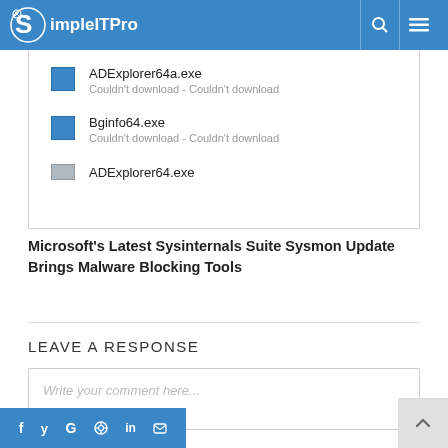SimpleITPro
[Figure (screenshot): Windows download error screenshot showing three files: ADExplorer64a.exe (Couldn't download - Couldn't download), Bginfo64.exe (Couldn't download - Couldn't download), and ADExplorer64.exe (partially visible)]
Microsoft's Latest Sysinternals Suite Sysmon Update Brings Malware Blocking Tools
LEAVE A RESPONSE
Write your comment here...
f y G pinterest in mail